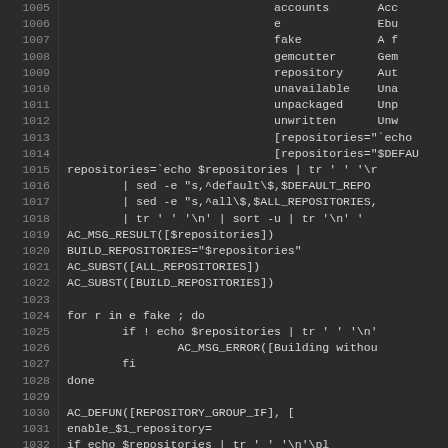[Figure (screenshot): Code editor screenshot showing shell/autoconf script lines 1005-1031+, dark theme with line numbers on the left and code content on the right. Lines include repository configuration, sed commands, AC_MSG_RESULT, BUILD_REPOSITORIES, AC_SUBST calls, for loop, and AC_DEFUN call.]